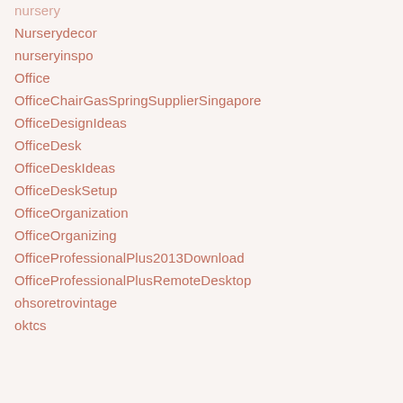nursery
Nurserydecor
nurseryinspo
Office
OfficeChairGasSpringSupplierSingapore
OfficeDesignIdeas
OfficeDesk
OfficeDeskIdeas
OfficeDeskSetup
OfficeOrganization
OfficeOrganizing
OfficeProfessionalPlus2013Download
OfficeProfessionalPlusRemoteDesktop
ohsoretrovintage
oktcs